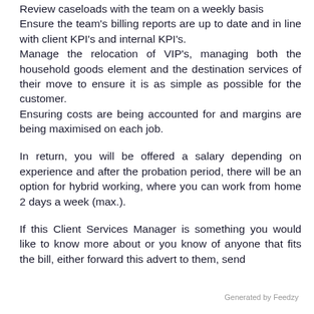Review caseloads with the team on a weekly basis
Ensure the team's billing reports are up to date and in line with client KPI's and internal KPI's.
Manage the relocation of VIP's, managing both the household goods element and the destination services of their move to ensure it is as simple as possible for the customer.
Ensuring costs are being accounted for and margins are being maximised on each job.
In return, you will be offered a salary depending on experience and after the probation period, there will be an option for hybrid working, where you can work from home 2 days a week (max.).
If this Client Services Manager is something you would like to know more about or you know of anyone that fits the bill, either forward this advert to them, send
Generated by Feedzy